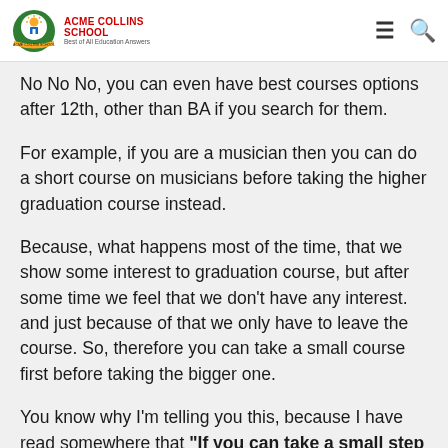Acme Collins School — Best of All Education Answers
No No No, you can even have best courses options after 12th, other than BA if you search for them.
For example, if you are a musician then you can do a short course on musicians before taking the higher graduation course instead.
Because, what happens most of the time, that we show some interest to graduation course, but after some time we feel that we don't have any interest. and just because of that we only have to leave the course. So, therefore you can take a small course first before taking the bigger one.
You know why I'm telling you this, because I have read somewhere that "If you can take a small step then you..."